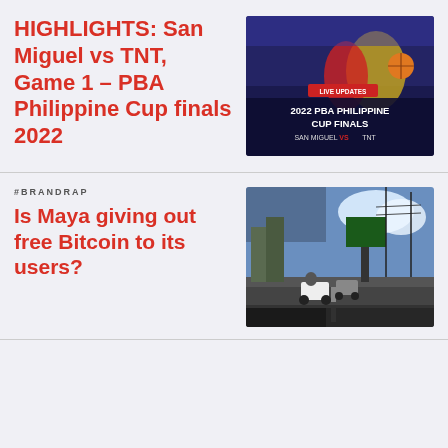HIGHLIGHTS: San Miguel vs TNT, Game 1 – PBA Philippine Cup finals 2022
[Figure (photo): PBA Philippine Cup Finals 2022 - San Miguel vs TNT promotional thumbnail showing basketball players with a red LIVE UPDATES banner]
#BRANDRAP
Is Maya giving out free Bitcoin to its users?
[Figure (photo): Street scene in the Philippines with vehicles on a road, shot from inside a car, showing a green billboard in the background]